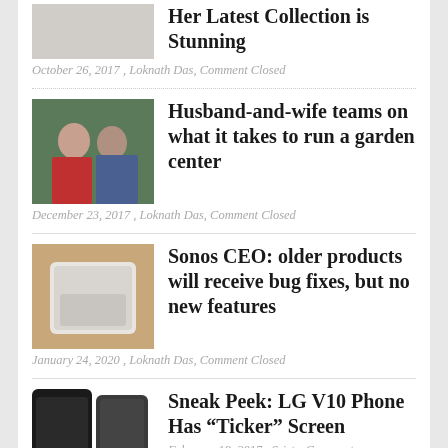Her Latest Collection is Stunning
October 26, 2017 , Loknath Das, Comment Closed
Husband-and-wife teams on what it takes to run a garden center
December 23, 2017 , Loknath Das, Comment Closed
Sonos CEO: older products will receive bug fixes, but no new features
January 24, 2020 , Loknath Das, Comment Closed
Sneak Peek: LG V10 Phone Has “Ticker” Screen
February 18, 2017 , Sristy, Comment Closed